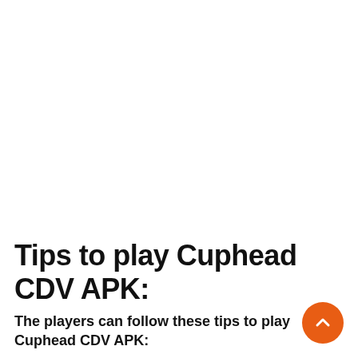Tips to play Cuphead CDV APK:
The players can follow these tips to play Cuphead CDV APK: